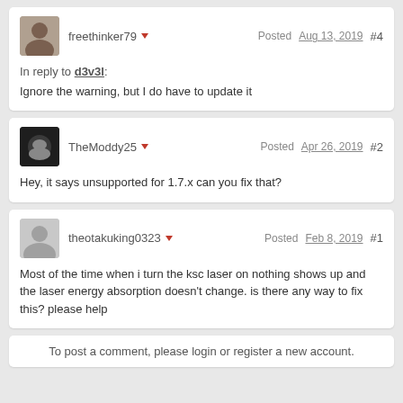freethinker79 ▾   Posted Aug 13, 2019   #4
In reply to d3v3l:
Ignore the warning, but I do have to update it
TheModdy25 ▾   Posted Apr 26, 2019   #2
Hey, it says unsupported for 1.7.x can you fix that?
theotakuking0323 ▾   Posted Feb 8, 2019   #1
Most of the time when i turn the ksc laser on nothing shows up and the laser energy absorption doesn't change. is there any way to fix this? please help
To post a comment, please login or register a new account.